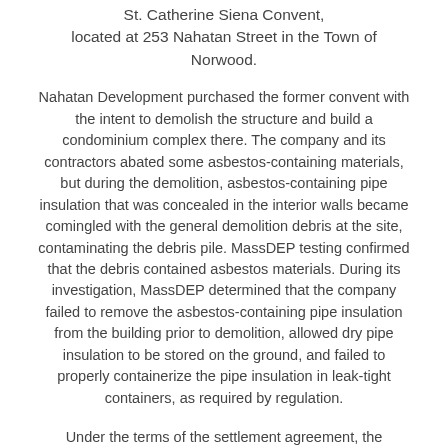St. Catherine Siena Convent, located at 253 Nahatan Street in the Town of Norwood.
Nahatan Development purchased the former convent with the intent to demolish the structure and build a condominium complex there. The company and its contractors abated some asbestos-containing materials, but during the demolition, asbestos-containing pipe insulation that was concealed in the interior walls became comingled with the general demolition debris at the site, contaminating the debris pile. MassDEP testing confirmed that the debris contained asbestos materials. During its investigation, MassDEP determined that the company failed to remove the asbestos-containing pipe insulation from the building prior to demolition, allowed dry pipe insulation to be stored on the ground, and failed to properly containerize the pipe insulation in leak-tight containers, as required by regulation.
Under the terms of the settlement agreement, the company will pay $17,140 of the penalty with the